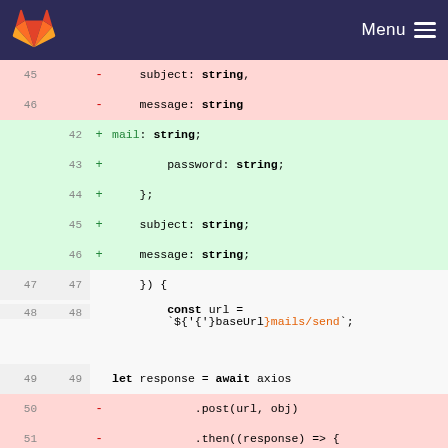[Figure (screenshot): GitLab navigation bar with orange fox logo on left and Menu hamburger icon on right, dark navy background]
Code diff view showing lines 45-57 (old) and 42-50 (new) of a TypeScript/JavaScript file with removed lines (pink) and added lines (green). Removed lines include subject: string, message: string with commas. Added lines include mail: string;, password: string;, };, subject: string;, message: string;. Context lines show }) {, const url =, `${baseUrl}mails/send`;, let response = await axios. Removed lines also include .post(url, obj), .then((response) => {, return response;, }), .catch((reason) => {, return reason.response;, });, return response;